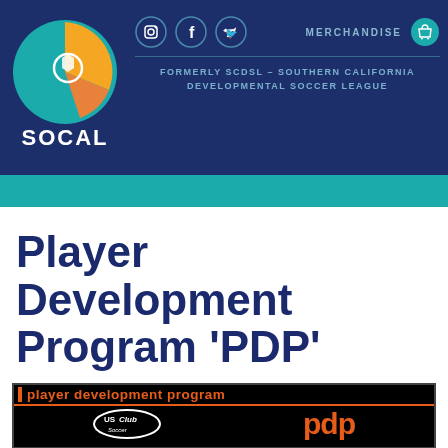[Figure (logo): SoCal soccer league logo - circular logo with orange, teal and white soccer ball design with SOCAL text below]
FORMERLY SCDSL - SOUTHERN CALIFORNIA DEVELOPMENTAL SOCCER LEAGUE
Player Development Program 'PDP'
[Figure (logo): Player development program banner with US Club Soccer and pdp logos on black background]